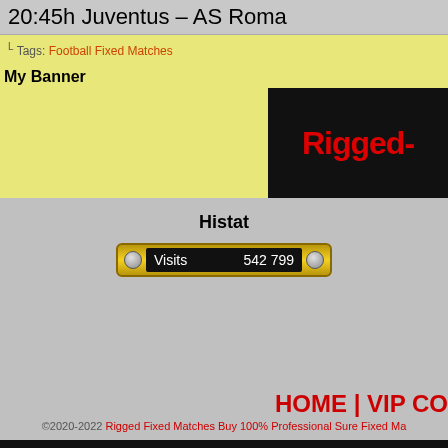20:45h Juventus – AS Roma
↳ Tags: Football Fixed Matches
My Banner
[Figure (logo): Black background banner with red bold text reading 'Rigged-']
Histat
[Figure (infographic): Gold-bordered black counter widget showing 'Visits   542 799']
HOME | VIP CO
©2020-2022 Rigged Fixed Matches Buy 100% Professional Sure Fixed Ma